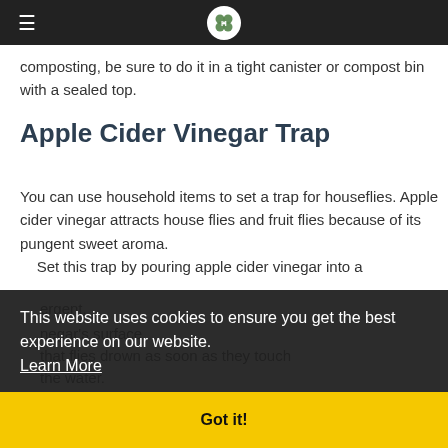≡  [4-H clover logo]
composting, be sure to do it in a tight canister or compost bin with a sealed top.
Apple Cider Vinegar Trap
You can use household items to set a trap for houseflies. Apple cider vinegar attracts house flies and fruit flies because of its pungent sweet aroma. Set this trap by pouring apple cider vinegar into a [dish and adding a drop of dish detergent.] The detergent breaks the [vinegar's surface] tension [so] that flies drown as soon as they touch the water.
This website uses cookies to ensure you get the best experience on our website.
Learn More
Got it!
Contact The Professionals
Ma...